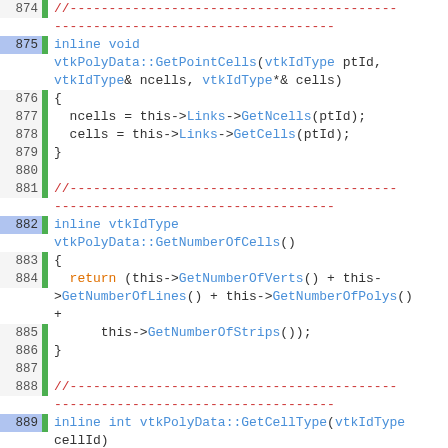[Figure (screenshot): Source code viewer showing C++ inline methods of vtkPolyData class, lines 874-898, with syntax highlighting. Blue for keywords and function names, red for comments, orange for control flow keywords.]